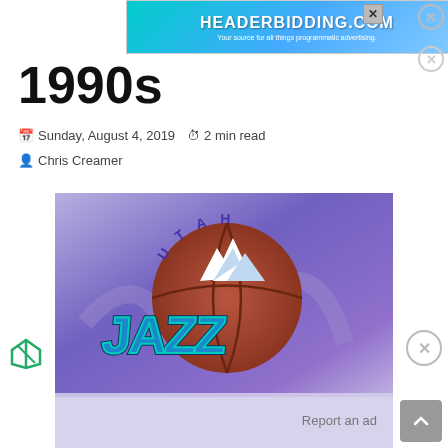[Figure (screenshot): HEADERBIDDING.COM advertisement banner — cyan/teal gradient with text 'HEADERBIDDING.COM' and subtitle 'Your source for all things programmatic advertising.']
1990s
Sunday, August 4, 2019  ⏱ 2 min read
Chris Creamer
[Figure (photo): Utah Jazz 1990s logo — a purple/blue background with the Utah Jazz logo featuring mountains, a basketball, and stylized 'JAZZ' text in teal, purple, and dark colors with a brown basketball circle.]
Report an ad